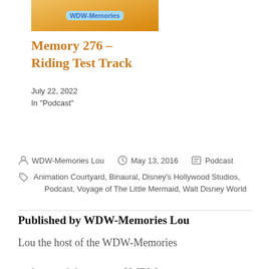[Figure (illustration): WDW-Memories logo thumbnail with orange/yellow gradient background and blue cursive text]
Memory 276 – Riding Test Track
July 22, 2022
In "Podcast"
WDW-Memories Lou   May 13, 2016   Podcast
Animation Courtyard, Binaural, Disney's Hollywood Studios, Podcast, Voyage of The Little Mermaid, Walt Disney World
Published by WDW-Memories Lou
Lou the host of the WDW-Memories podcast and the owner of WDW-